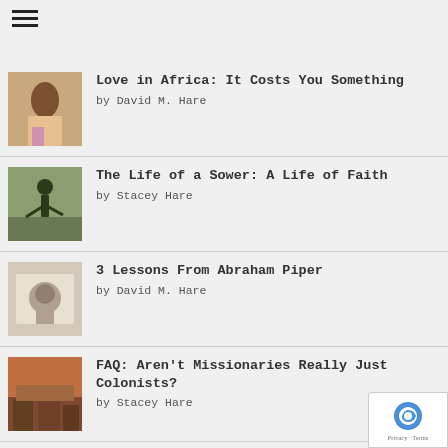☰
Love in Africa: It Costs You Something by David M. Hare
The Life of a Sower: A Life of Faith by Stacey Hare
3 Lessons From Abraham Piper by David M. Hare
FAQ: Aren't Missionaries Really Just Colonists? by Stacey Hare
Vain Generosity by David M. Hare